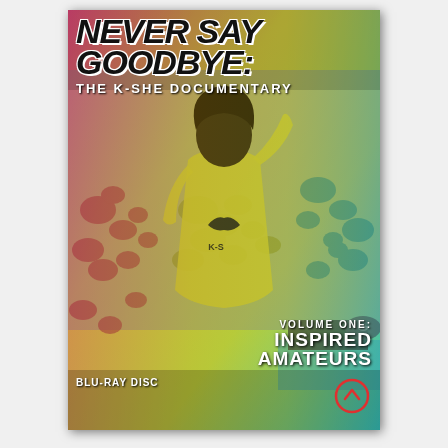[Figure (photo): Blu-ray disc cover for 'Never Say Goodbye: The KSHE Documentary, Volume One: Inspired Amateurs'. Shows a performer on stage viewed from behind, facing a large outdoor crowd, with a colorful yellow-to-pink-to-teal gradient overlay on a black-and-white photograph.]
NEVER SAY GOODBYE: THE KSHE DOCUMENTARY
VOLUME ONE: INSPIRED AMATEURS
BLU-RAY DISC